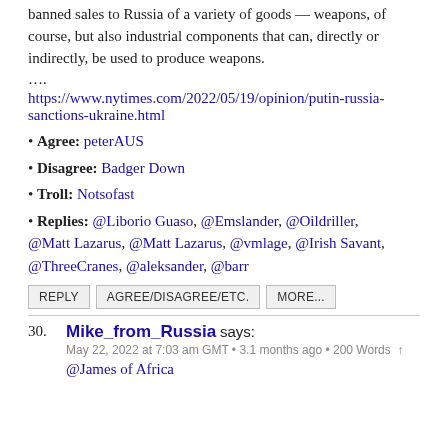banned sales to Russia of a variety of goods — weapons, of course, but also industrial components that can, directly or indirectly, be used to produce weapons.
….
https://www.nytimes.com/2022/05/19/opinion/putin-russia-sanctions-ukraine.html
• Agree: peterAUS
• Disagree: Badger Down
• Troll: Notsofast
• Replies: @Liborio Guaso, @Emslander, @Oildriller, @Matt Lazarus, @Matt Lazarus, @vmlage, @Irish Savant, @ThreeCranes, @aleksander, @barr
REPLY   AGREE/DISAGREE/ETC.   MORE...
30.
Mike_from_Russia says:
May 22, 2022 at 7:03 am GMT • 3.1 months ago • 200 Words ↑
@James of Africa